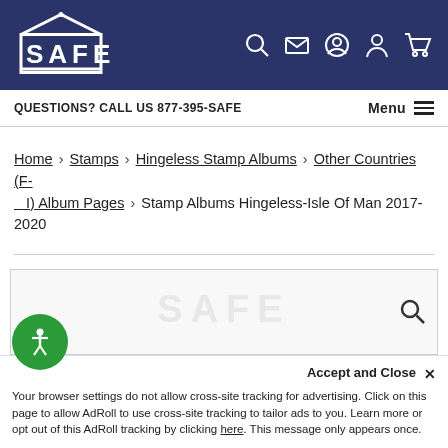[Figure (logo): SAFE brand logo - white text on dark navy background with house/building outline]
QUESTIONS? CALL US 877-395-SAFE   Menu
Home › Stamps › Hingeless Stamp Albums › Other Countries (F-I) Album Pages › Stamp Albums Hingeless-Isle Of Man 2017-2020
Your browser settings do not allow cross-site tracking for advertising. Click on this page to allow AdRoll to use cross-site tracking to tailor ads to you. Learn more or opt out of this AdRoll tracking by clicking here. This message only appears once.